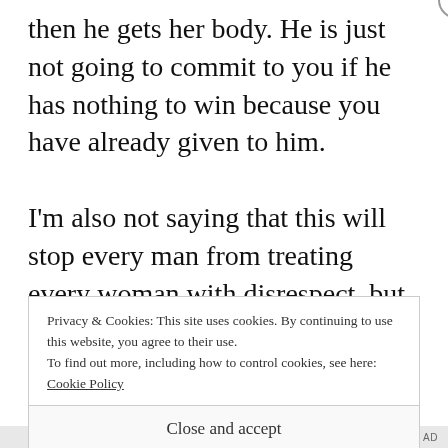then he gets her body. He is just not going to commit to you if he has nothing to win because you have already given to him.
I'm also not saying that this will stop every man from treating every woman with disrespect, but it is a safeguard against it, and an area where we desperately need to take action. The fact of the matter is we CAN
Privacy & Cookies: This site uses cookies. By continuing to use this website, you agree to their use. To find out more, including how to control cookies, see here: Cookie Policy
Close and accept